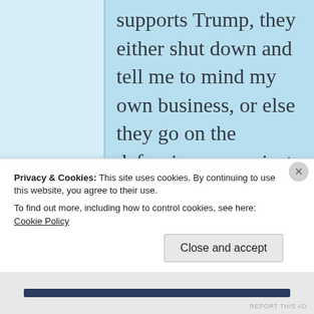supports Trump, they either shut down and tell me to mind my own business, or else they go on the defensive as you just did. Now, once again, Ilhan Omar did not marry her brother. Ever. That was a
Privacy & Cookies: This site uses cookies. By continuing to use this website, you agree to their use.
To find out more, including how to control cookies, see here: Cookie Policy